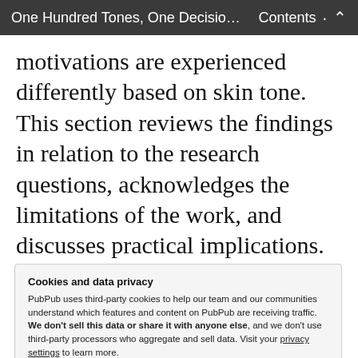One Hundred Tones, One Decisio… Contents ▲
motivations are experienced differently based on skin tone. This section reviews the findings in relation to the research questions, acknowledges the limitations of the work, and discusses practical implications.
Addressing the first research question, the
Cookies and data privacy
PubPub uses third-party cookies to help our team and our communities understand which features and content on PubPub are receiving traffic. We don't sell this data or share it with anyone else, and we don't use third-party processors who aggregate and sell data. Visit your privacy settings to learn more.
[Accept] [Disable]
Although the number of participants